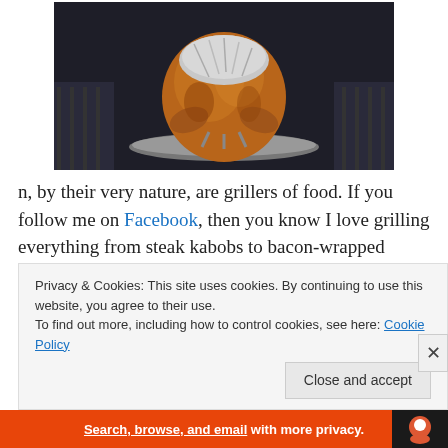[Figure (photo): A roasted whole chicken/turkey sitting upright on a metal tray, with aluminum foil wrapped around parts of it, dark background]
n, by their very nature, are grillers of food. If you follow me on Facebook, then you know I love grilling everything from steak kabobs to bacon-wrapped bratwurst. This is because grilling, aside from providing men with a
Privacy & Cookies: This site uses cookies. By continuing to use this website, you agree to their use.
To find out more, including how to control cookies, see here: Cookie Policy
Close and accept
Search, browse, and email with more privacy.